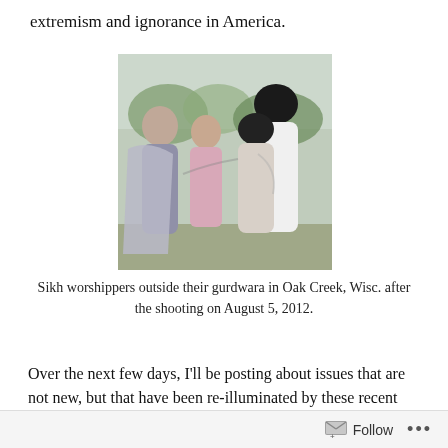extremism and ignorance in America.
[Figure (photo): Sikh worshippers consoling each other outside their gurdwara in Oak Creek, Wisconsin after the shooting on August 5, 2012. Shows people embracing and grieving outdoors.]
Sikh worshippers outside their gurdwara in Oak Creek, Wisc. after the shooting on August 5, 2012.
Over the next few days, I'll be posting about issues that are not new, but that have been re-illuminated by these recent hate crimes. They include religious illiteracy in
Follow ...